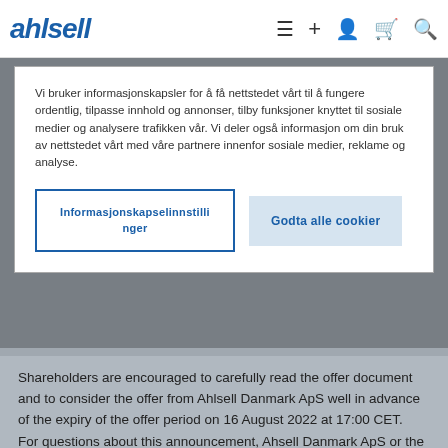ahlsell [navigation icons]
Vi bruker informasjonskapsler for å få nettstedet vårt til å fungere ordentlig, tilpasse innhold og annonser, tilby funksjoner knyttet til sosiale medier og analysere trafikken vår. Vi deler også informasjon om din bruk av nettstedet vårt med våre partnere innenfor sosiale medier, reklame og analyse.
Informasjonskapselinnstillinger  Godta alle cookier
Shareholders are encouraged to carefully read the offer document and to consider the offer from Ahlsell Danmark ApS well in advance of the expiry of the offer period on 16 August 2022 at 17:00 CET.
For questions about this announcement, Ahsell Danmark ApS or the Ahlsell Group, please contact Claes Seldeby, Group CEO, Ahlsell AB (publ), +46-8-685 70 00, claes.seldeby@ahlsell.se.